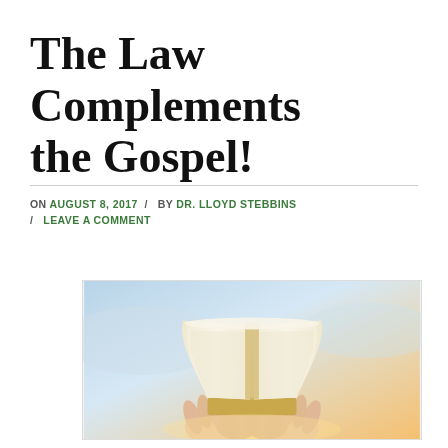The Law Complements the Gospel!
ON AUGUST 8, 2017 / BY DR. LLOYD STEBBINS / LEAVE A COMMENT
[Figure (photo): Hands holding an open book with pages spread, photographed against a bright sky background with warm light — likely representing the Bible or scripture.]